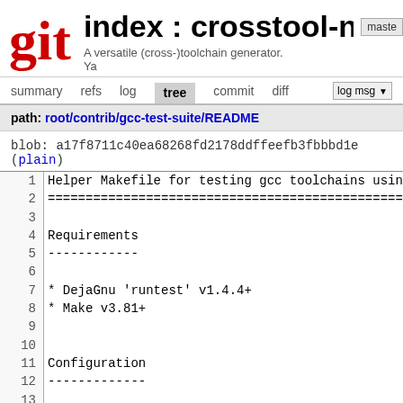index : crosstool-ng  master  A versatile (cross-)toolchain generator.  Ya
path: root/contrib/gcc-test-suite/README
blob: a17f8711c40ea68268fd2178ddffeefb3fbbbd1e (plain)
1  Helper Makefile for testing gcc toolchains usin
2  ==============================================
3  
4  Requirements
5  ------------
6  
7  * DejaGnu 'runtest' v1.4.4+
8  * Make v3.81+
9  
10  
11  Configuration
12  -------------
13  
14  Edit default.cfg to reflect your toolchain and
15  
16  Alternatively, override configuration variables
17